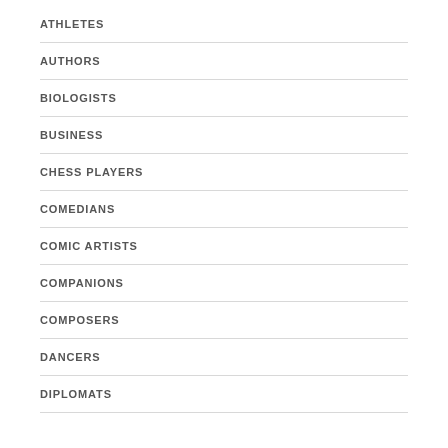ATHLETES
AUTHORS
BIOLOGISTS
BUSINESS
CHESS PLAYERS
COMEDIANS
COMIC ARTISTS
COMPANIONS
COMPOSERS
DANCERS
DIPLOMATS